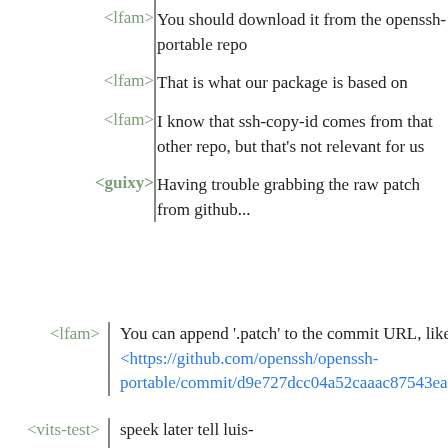<lfam> You should download it from the openssh-portable repo
<lfam> That is what our package is based on
<lfam> I know that ssh-copy-id comes from that other repo, but that's not relevant for us
<guixy> Having trouble grabbing the raw patch from github...
<lfam> You can append '.patch' to the commit URL, like this: <https://github.com/openssh/openssh-portable/commit/d9e727dcc04a52caaac87543ea1d230...
<vits-test> speek later tell luis-